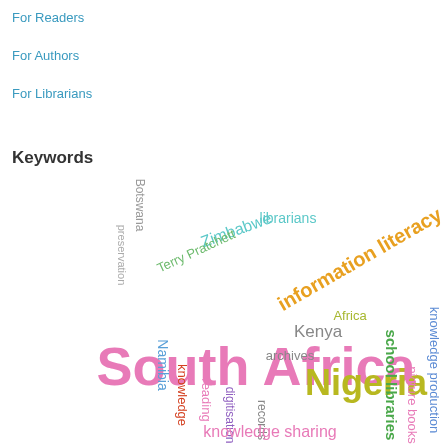For Readers
For Authors
For Librarians
Keywords
[Figure (infographic): Word cloud featuring keywords: South Africa (largest, pink), Nigeria (large, olive/yellow-green), information literacy (large, orange, diagonal), Zimbabwe (medium, teal, diagonal), Terry Pratchett (medium, green, diagonal), knowledge sharing (medium, pink), school libraries (medium, green, vertical), knowledge production (medium, blue, vertical), Kenya (medium, gray), archives (small, gray), Namibia (small, blue, vertical), Botswana (small, gray, vertical), preservation (small, gray, vertical), knowledge (small, red, vertical), reading (small, pink, vertical), digitisation (small, purple, vertical), records (small, gray, vertical), librarians (small, teal), Africa (small, olive), picture books (small, pink, vertical)]